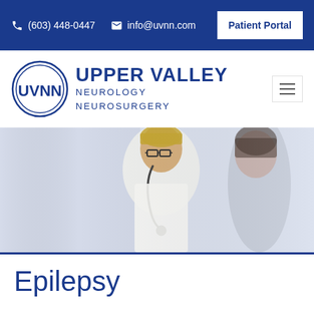(603) 448-0447  info@uvnn.com  Patient Portal
[Figure (logo): UVNN Upper Valley Neurology Neurosurgery logo with oval emblem]
[Figure (photo): Doctor with stethoscope consulting with a patient]
Epilepsy